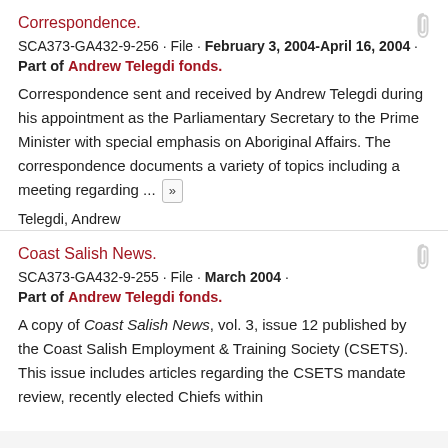Correspondence.
SCA373-GA432-9-256 · File · February 3, 2004-April 16, 2004 · Part of Andrew Telegdi fonds.
Correspondence sent and received by Andrew Telegdi during his appointment as the Parliamentary Secretary to the Prime Minister with special emphasis on Aboriginal Affairs. The correspondence documents a variety of topics including a meeting regarding ... »
Telegdi, Andrew
Coast Salish News.
SCA373-GA432-9-255 · File · March 2004 · Part of Andrew Telegdi fonds.
A copy of Coast Salish News, vol. 3, issue 12 published by the Coast Salish Employment & Training Society (CSETS). This issue includes articles regarding the CSETS mandate review, recently elected Chiefs within